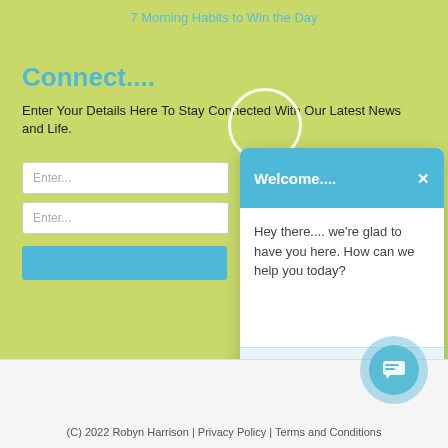7 Morning Habits to Win the Day
Connect....
Enter Your Details Here To Stay Connected With Our Latest News and Life.
[Figure (screenshot): Chat popup widget with header 'Welcome....' and message 'Hey there.... we're glad to have you here. How can we help you today?' and a message input field with placeholder 'Send your message']
[Figure (other): Chat bubble icon in bottom right corner]
(C) 2022 Robyn Harrison | Privacy Policy | Terms and Conditions